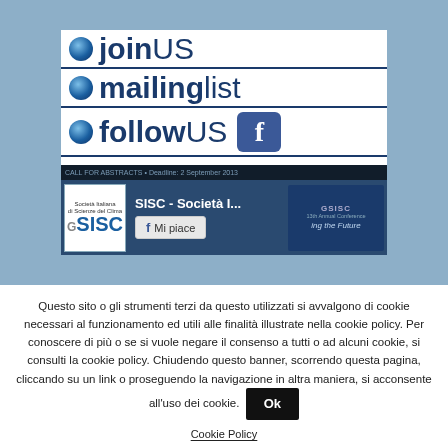[Figure (screenshot): Website banner with join us, mailing list, follow us social media options and a Facebook widget showing SISC - Società I... page with Mi piace (like) button]
Questo sito o gli strumenti terzi da questo utilizzati si avvalgono di cookie necessari al funzionamento ed utili alle finalità illustrate nella cookie policy. Per conoscere di più o se si vuole negare il consenso a tutti o ad alcuni cookie, si consulti la cookie policy. Chiudendo questo banner, scorrendo questa pagina, cliccando su un link o proseguendo la navigazione in altra maniera, si acconsente all'uso dei cookie. Ok
Cookie Policy